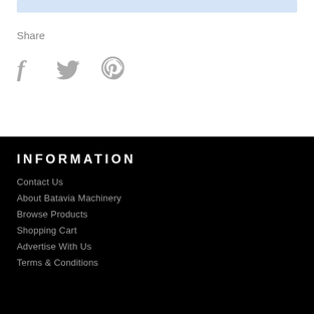[Figure (screenshot): Light blue bar at top of white section]
Share
[Figure (infographic): Social media icons: Facebook (f), Twitter (bird), Pinterest (p) in grey]
INFORMATION
Contact Us
About Batavia Machinery
Browse Products
Shopping Cart
Advertise With Us
Terms & Conditions